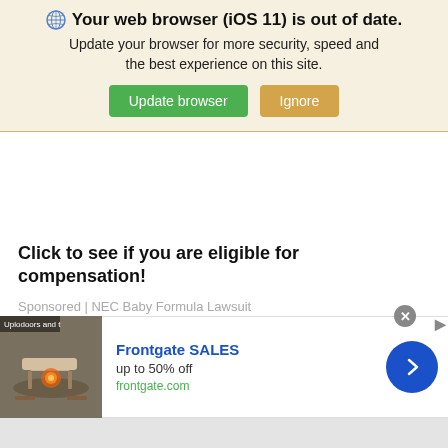Your web browser (iOS 11) is out of date. Update your browser for more security, speed and the best experience on this site.
Update browser | Ignore
Click to see if you are eligible for compensation!
Sponsored | NEC Baby Formula Lawsuit
[Figure (screenshot): Pagination dots: one filled dark circle and one outlined smaller circle]
[Figure (photo): Frontgate SALES advertisement banner showing outdoor patio furniture with a fire pit. Text: Frontgate SALES, up to 50% off, frontgate.com. Blue arrow button on right.]